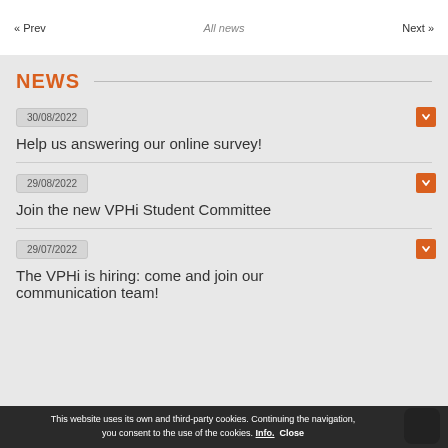« Prev   All news   Next »
NEWS
30/08/2022
Help us answering our online survey!
29/08/2022
Join the new VPHi Student Committee
29/07/2022
The VPHi is hiring: come and join our communication team!
This website uses its own and third-party cookies. Continuing the navigation, you consent to the use of the cookies. Info. Close